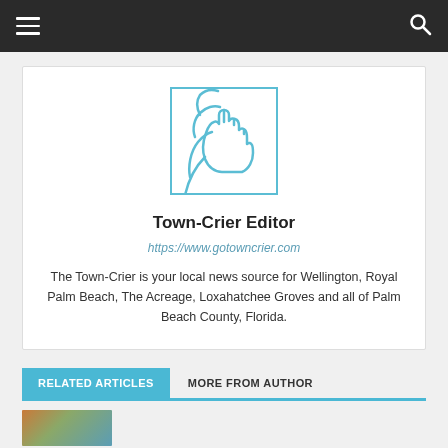Navigation bar with hamburger menu and search icon
[Figure (logo): Town-Crier logo: blue line art of a person shouting with hand raised, square format]
Town-Crier Editor
https://www.gotowncrier.com
The Town-Crier is your local news source for Wellington, Royal Palm Beach, The Acreage, Loxahatchee Groves and all of Palm Beach County, Florida.
RELATED ARTICLES   MORE FROM AUTHOR
[Figure (photo): Partial thumbnail image at bottom left]